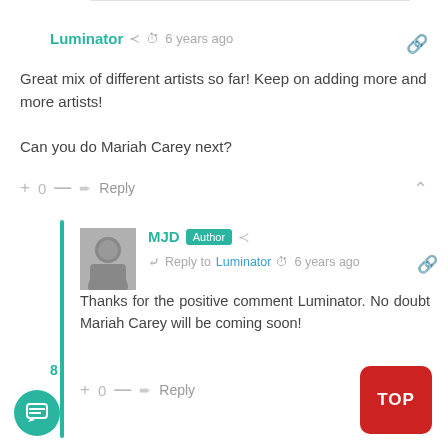Luminator · 6 years ago
Great mix of different artists so far! Keep on adding more and more artists!

Can you do Mariah Carey next?
+ 0 — Reply
MJD Author · Reply to Luminator · 6 years ago
Thanks for the positive comment Luminator. No doubt Mariah Carey will be coming soon!
+ 0 — Reply